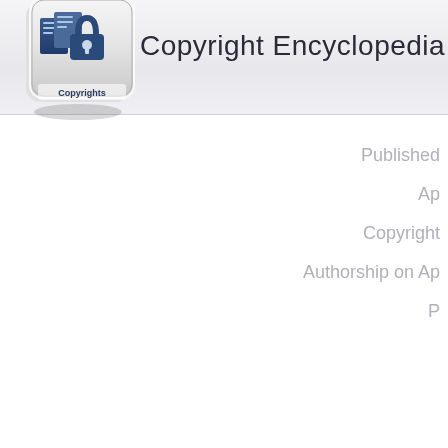[Figure (logo): Copyright Encyclopedia logo: a keyboard key with a padlock and document icon, labeled 'Copyrights']
Copyright Encyclopedia
Published
Ap
Copyright
Authorship on Ap
P